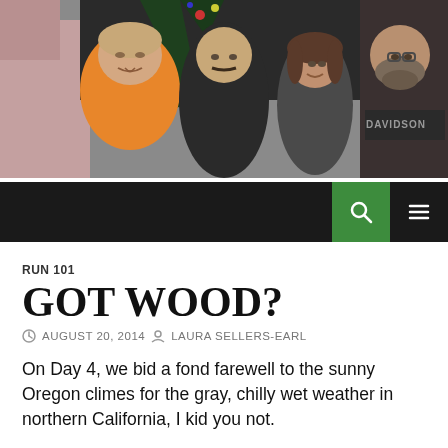[Figure (photo): Group photo of four people smiling at the camera, taken outdoors. One person in an orange jacket is on the left. Background shows a building and a Christmas tree or decorations. One person on the right is wearing a Harley-Davidson shirt.]
RUN 101
GOT WOOD?
AUGUST 20, 2014   LAURA SELLERS-EARL
On Day 4, we bid a fond farewell to the sunny Oregon climes for the gray, chilly wet weather in northern California, I kid you not.
Five miles in the thunder hit. A few miles more the rains came. Not your average Oregon spritz, but a friggin' downpour.